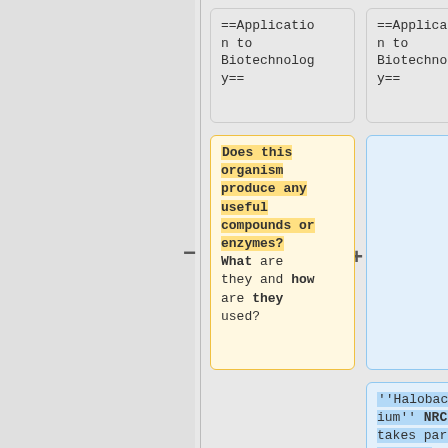==Application to Biotechnology==
==Application to Biotechnology==
Does this organism produce any useful compounds or enzymes? What are they and how are they used?
''Halobacterium'' NRC-1 takes part in many biotechnological